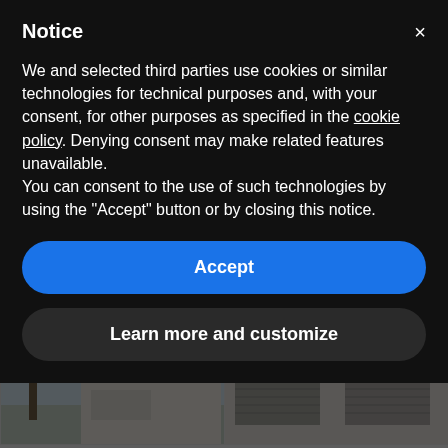[Figure (screenshot): Background website showing property listing cards with area information: left card shows 200 m² area and 900 m² plot, right card shows 172 m² area and 194 m² plot. Below are two property photos - left shows a palm tree and building exterior against sky, right shows a building facade with roller shutters.]
Notice
We and selected third parties use cookies or similar technologies for technical purposes and, with your consent, for other purposes as specified in the cookie policy. Denying consent may make related features unavailable.
You can consent to the use of such technologies by using the "Accept" button or by closing this notice.
Accept
Learn more and customize